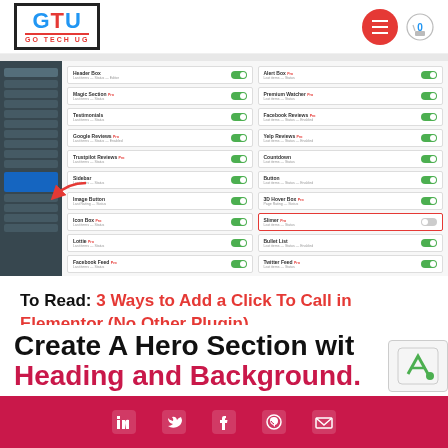GTU GO TECH UG
[Figure (screenshot): WordPress Elementor widget manager screenshot showing list of widgets with green toggle switches enabled, one widget (Slimer) highlighted with red border and toggle appearing off, and a red arrow pointing to left sidebar menu item]
To Read: 3 Ways to Add a Click To Call in Elementor (No Other Plugin)
Create A Hero Section with Heading and Background.
Social media icons bar: LinkedIn, Twitter, Facebook, WhatsApp, Email